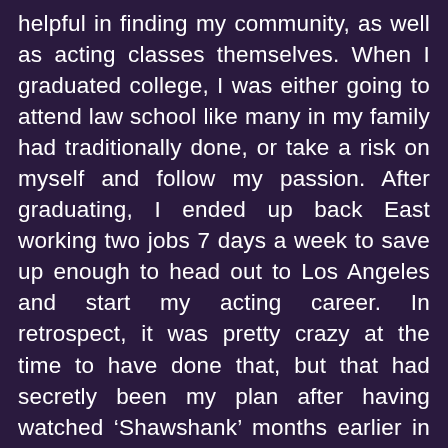helpful in finding my community, as well as acting classes themselves. When I graduated college, I was either going to attend law school like many in my family had traditionally done, or take a risk on myself and follow my passion. After graduating, I ended up back East working two jobs 7 days a week to save up enough to head out to Los Angeles and start my acting career. In retrospect, it was pretty crazy at the time to have done that, but that had secretly been my plan after having watched ‘Shawshank’ months earlier in D.C.  I’m not sure why I didn’t tell anyone about my plan. Perhaps I was a little embarrassed about taking such a strange leap of faith, and concerned that others might try to talk me out of it. I just sort of kept it to myself